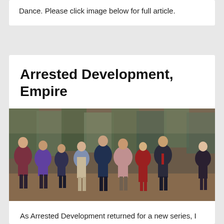Dance. Please click image below for full article.
Arrested Development, Empire
[Figure (photo): Cast photo of Arrested Development TV show, featuring the main ensemble cast of approximately 9 actors posing together in front of a warehouse/shipping container backdrop.]
As Arrested Development returned for a new series, I spoke to the main cast about the show's